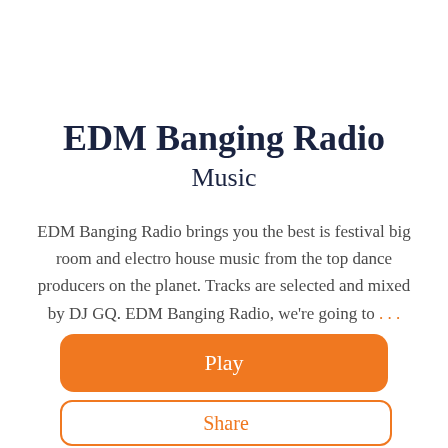EDM Banging Radio
Music
EDM Banging Radio brings you the best is festival big room and electro house music from the top dance producers on the planet. Tracks are selected and mixed by DJ GQ. EDM Banging Radio, we're going to . . . View More
Play
Share